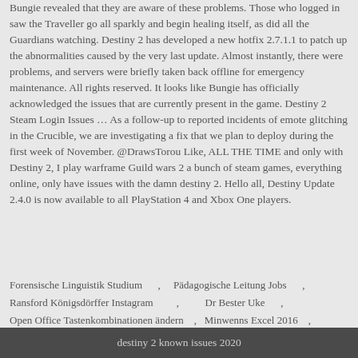Bungie revealed that they are aware of these problems. Those who logged in saw the Traveller go all sparkly and begin healing itself, as did all the Guardians watching. Destiny 2 has developed a new hotfix 2.7.1.1 to patch up the abnormalities caused by the very last update. Almost instantly, there were problems, and servers were briefly taken back offline for emergency maintenance. All rights reserved. It looks like Bungie has officially acknowledged the issues that are currently present in the game. Destiny 2 Steam Login Issues … As a follow-up to reported incidents of emote glitching in the Crucible, we are investigating a fix that we plan to deploy during the first week of November. @DrawsTorou Like, ALL THE TIME and only with Destiny 2, I play warframe Guild wars 2 a bunch of steam games, everything online, only have issues with the damn destiny 2. Hello all, Destiny Update 2.4.0 is now available to all PlayStation 4 and Xbox One players.
Forensische Linguistik Studium , Pädagogische Leitung Jobs , Ransford Königsdörffer Instagram , Dr Bester Uke , Open Office Tastenkombinationen ändern , Minwenns Excel 2016 , Msi Amd Ryzen Notebook , Schutzpatron Der ärzte 9 Buchstaben ,
destiny 2 known issues 2020